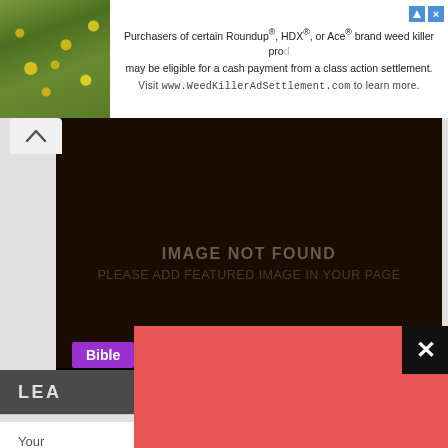[Figure (screenshot): Advertisement banner: photo of yellow flowers on green foliage on the left; ad text reads 'Purchasers of certain Roundup®, HDX®, or Ace® brand weed killer products may be eligible for a cash payment from a class action settlement. Visit www.WeedKillerAdSettlement.com to learn more.']
[Figure (screenshot): Dark brown/black image placeholder area with text IMAGE NOT FOUND / PLEASE ADD FEATURED IMAGE IN YOUR PAGE, and a purple 'Bible' tag, and title bar reading 'Question: Who Is Mark In The Bible?']
[Figure (screenshot): Pink/salmon colored popup overlay with black X close button in top right corner]
LEA
Your required fields